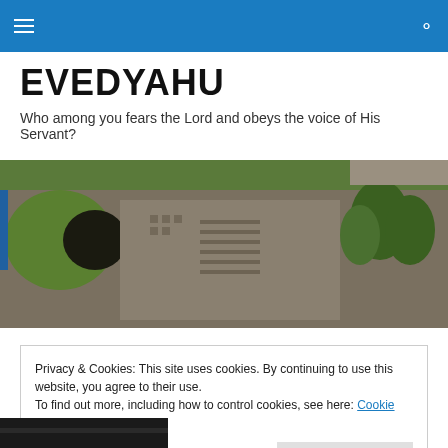Navigation bar with hamburger menu and search icon
EVEDYAHU
Who among you fears the Lord and obeys the voice of His Servant?
[Figure (photo): Aerial view of ancient ruins on a hillside with green grass and trees]
Privacy & Cookies: This site uses cookies. By continuing to use this website, you agree to their use.
To find out more, including how to control cookies, see here: Cookie Policy
Close and accept
[Figure (photo): Partial view of a dark image at the bottom of the page]